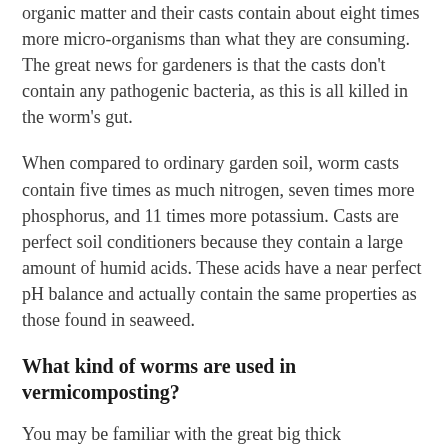organic matter and their casts contain about eight times more micro-organisms than what they are consuming. The great news for gardeners is that the casts don't contain any pathogenic bacteria, as this is all killed in the worm's gut.
When compared to ordinary garden soil, worm casts contain five times as much nitrogen, seven times more phosphorus, and 11 times more potassium. Casts are perfect soil conditioners because they contain a large amount of humid acids. These acids have a near perfect pH balance and actually contain the same properties as those found in seaweed.
What kind of worms are used in vermicomposting?
You may be familiar with the great big thick earthworms that burrow their way around your garden soil. However, the worms that are used in vermicomposting are actually not these worms but rather worms known as angle worms,